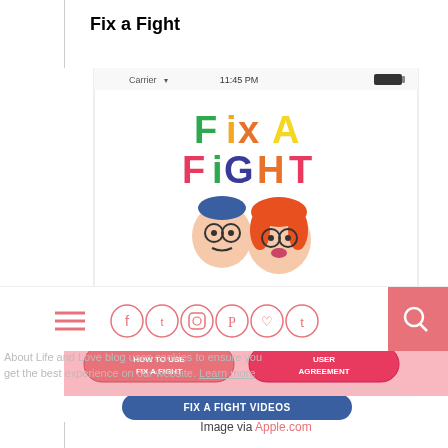Fix a Fight
[Figure (screenshot): Mobile app screenshot showing the Fix a Fight app logo with colorful cartoon text and two cartoon faces (a man and a woman arguing), with a phone status bar showing Carrier, 11:45 PM, and battery indicator]
[Figure (screenshot): Website navigation bar with hamburger menu, social media icons (Facebook, Twitter, Instagram, Pinterest, heart/Bloglovin, Tumblr), and a pink search button]
[Figure (screenshot): App content showing buttons labeled REPAIRS, SELF-SOOTHER, FIX A FIGHT VIDEOS in green, grey/outline, and blue rounded rectangle styles]
[Figure (screenshot): Pink footer bar with HOW TO USE FIX A FIGHT and USER AGREEMENT buttons]
About Life and Love blog uses cookies to ensure you get the best experience on our website. Learn more
Image via Apple.com